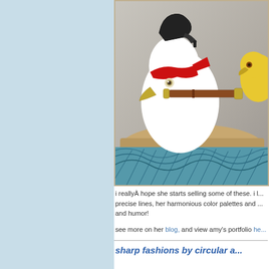[Figure (illustration): Illustration of stylized bird characters in a boat on waves. A white bird with a red mask holds a telescope/spyglass, wearing a black high-heeled shoe on its head. A yellow bird is partially visible at right. Waves rendered in blue below a wooden boat hull.]
i reallyÀ hope she starts selling some of these. i l... precise lines, her harmonious color palettes and ... and humor!
see more on her blog, and view amy's portfolio he...
sharp fashions by circular a...